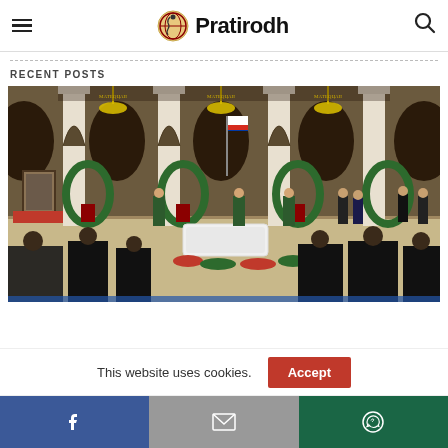Pratirodh
RECENT POSTS
[Figure (photo): A formal state funeral ceremony inside an ornate hall with columns, chandeliers, wreaths, a Russian flag, honor guards in green uniforms, and mourners in black standing around a white casket.]
This website uses cookies.
Facebook | Gmail | WhatsApp